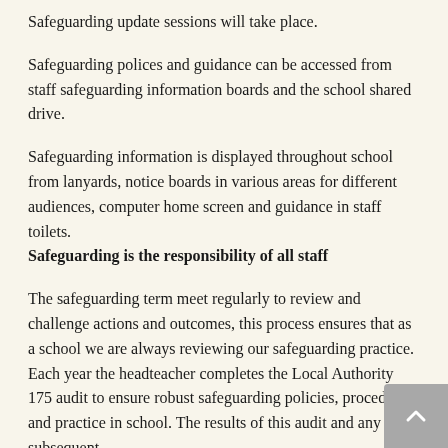Safeguarding update sessions will take place.
Safeguarding polices and guidance can be accessed from staff safeguarding information boards and the school shared drive.
Safeguarding information is displayed throughout school from lanyards, notice boards in various areas for different audiences, computer home screen and guidance in staff toilets.
Safeguarding is the responsibility of all staff
The safeguarding term meet regularly to review and challenge actions and outcomes, this process ensures that as a school we are always reviewing our safeguarding practice. Each year the headteacher completes the Local Authority 175 audit to ensure robust safeguarding policies, procedures and practice in school. The results of this audit and any subsequent